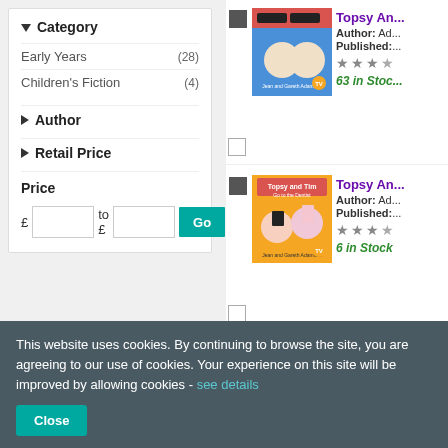Category
Early Years (28)
Children's Fiction (4)
Author
Retail Price
Price
[Figure (screenshot): Price range input fields with £ symbols and Go button]
Topsy An...
Author: Ad...
Published:...
63 in Stoc...
Topsy An...
Author: Ad...
Published:...
6 in Stock
This website uses cookies. By continuing to browse the site, you are agreeing to our use of cookies. Your experience on this site will be improved by allowing cookies - see details